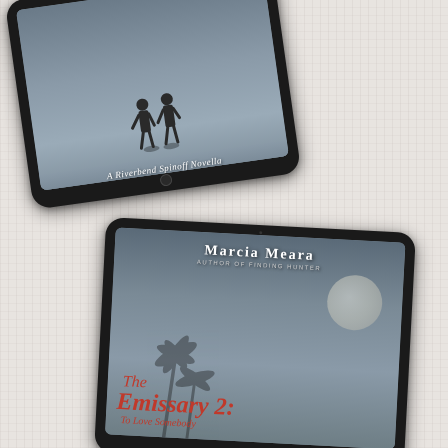[Figure (illustration): Two tablet devices displayed on a textured off-white/cream background. The top tablet (tilted left, partially cropped) shows a romantic book cover with silhouettes of two people on a beach and the text 'A Riverbend Spinoff Novella'. The bottom tablet (tilted slightly right) shows the cover of 'The Emissary 2: To Love Somebody' by Marcia Meara, Author of Finding Hunter, with a dark tropical scene featuring palm trees, a moon, and crimson script title text.]